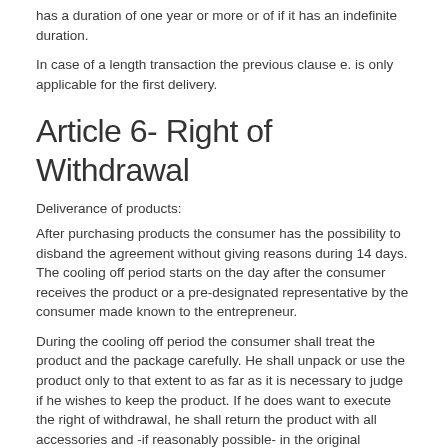has a duration of one year or more or of if it has an indefinite duration.
In case of a length transaction the previous clause e. is only applicable for the first delivery.
Article 6- Right of Withdrawal
Deliverance of products:
After purchasing products the consumer has the possibility to disband the agreement without giving reasons during 14 days. The cooling off period starts on the day after the consumer receives the product or a pre-designated representative by the consumer made known to the entrepreneur.
During the cooling off period the consumer shall treat the product and the package carefully. He shall unpack or use the product only to that extent to as far as it is necessary to judge if he wishes to keep the product. If he does want to execute the right of withdrawal, he shall return the product with all accessories and -if reasonably possible- in the original conditioning and packaging to the entrepreneur, in accordance with the provided reasonable and clear instructions of the entrepreneur.
Deliverance of Services:
After the deliverance of services the consumer has the possibility to disband the agreement without giving reasons during at least 14 days,